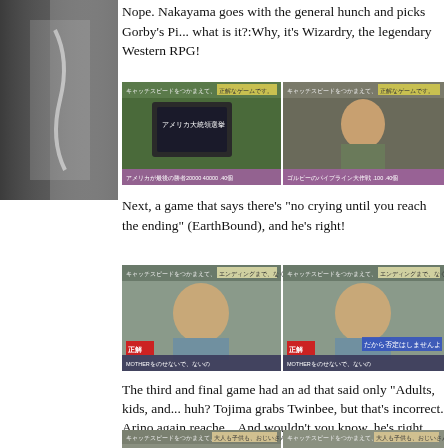[Figure (photo): Partial side image on the left edge, appears to be a decorative or contextual image]
Nope. Nakayama goes with the general hunch and picks Gorby's Pi... what is it?:Why, it's Wizardry, the legendary Western RPG!
[Figure (screenshot): Two-panel screenshot from a Japanese TV show. Left panel shows a person holding up a game cartridge with Japanese text アメリカ大統領選挙. Right panel shows another person. Both panels have Japanese captions at top and bottom.]
Next, a game that says there's "no crying until you reach the ending" (EarthBound), and he's right!
[Figure (screenshot): Two-panel screenshot from a Japanese TV show. Both panels show a man in a light blue jacket and orange tie laughing/smiling. Both have 正解 (correct answer) label and MOTHER text at the bottom. Right panel has additional Japanese text だから否定はしませんよ.]
The third and final game had an ad that said only "Adults, kids, and... huh? Tojima grabs Twinbee, but that's incorrect. Arino again reache... And wouldn't you know, he's right again.
[Figure (screenshot): Two-panel screenshot at the bottom of page, partially visible. Shows people in what appears to be the same Japanese TV show setting.]